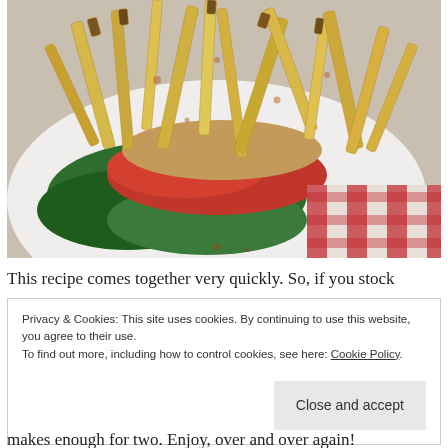[Figure (photo): Close-up photo of a burger or sandwich topped with french fries on a white plate with a red and white checkered cloth visible in the background. Green lettuce and red tomato visible under the fries.]
This recipe comes together very quickly. So, if you stock
Privacy & Cookies: This site uses cookies. By continuing to use this website, you agree to their use.
To find out more, including how to control cookies, see here: Cookie Policy
Close and accept
makes enough for two. Enjoy, over and over again!